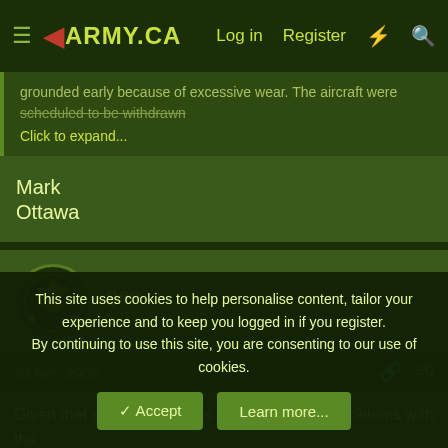ARMY.CA — Log in | Register
grounded early because of excessive wear. The aircraft were scheduled to be withdrawn... Click to expand...
Mark
Ottawa
geo
Army.ca Legend
23 Nov 2006    #9
Given that several countries apparently have problems with the Tornado in service (UK and the US) it is...
This site uses cookies to help personalise content, tailor your experience and to keep you logged in if you register.
By continuing to use this site, you are consenting to our use of cookies.